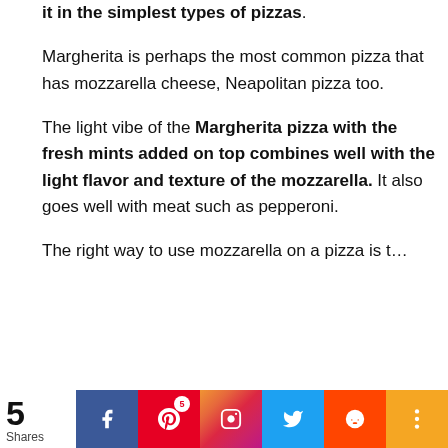it in the simplest types of pizzas. Margherita is perhaps the most common pizza that has mozzarella cheese, Neapolitan pizza too.

The light vibe of the Margherita pizza with the fresh mints added on top combines well with the light flavor and texture of the mozzarella. It also goes well with meat such as pepperoni.

The right way to use mozzarella on a pizza is t…
5 Shares — Share bar with Facebook, Pinterest (5), Instagram, Twitter, Reddit, More